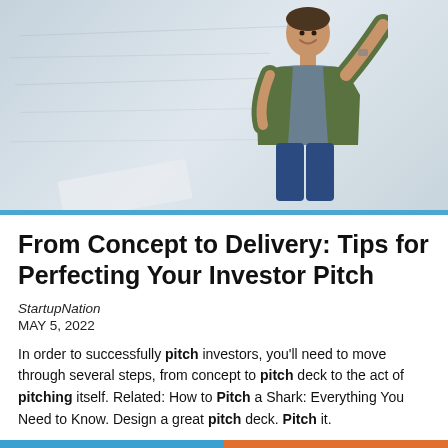[Figure (photo): A smiling man in a green jacket and blue jeans pointing at a whiteboard, standing in front of a light-colored whiteboard background.]
From Concept to Delivery: Tips for Perfecting Your Investor Pitch
StartupNation
MAY 5, 2022
In order to successfully pitch investors, you'll need to move through several steps, from concept to pitch deck to the act of pitching itself. Related: How to Pitch a Shark: Everything You Need to Know. Design a great pitch deck. Pitch it.